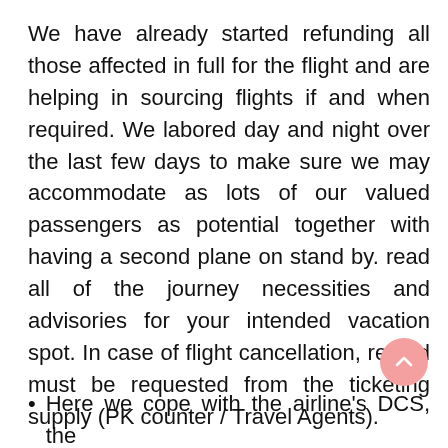We have already started refunding all those affected in full for the flight and are helping in sourcing flights if and when required. We labored day and night over the last few days to make sure we may accommodate as lots of our valued passengers as potential together with having a second plane on stand by. read all of the journey necessities and advisories for your intended vacation spot. In case of flight cancellation, refund must be requested from the ticketing supply (PK counter / Travel Agents).
Here we cope with the airline's DCS, the